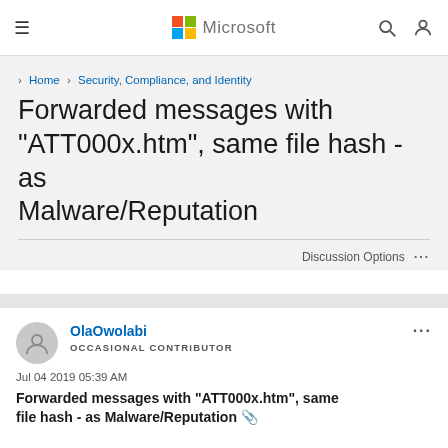Microsoft
Home > Security, Compliance, and Identity
Forwarded messages with "ATT000x.htm", same file hash - as Malware/Reputation
Discussion Options ...
OlaOwolabi
OCCASIONAL CONTRIBUTOR
Jul 04 2019 05:39 AM
Forwarded messages with "ATT000x.htm", same file hash - as Malware/Reputation